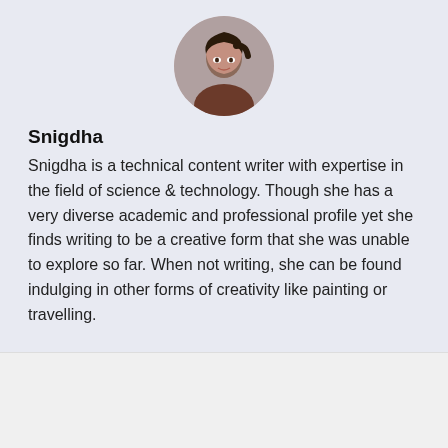[Figure (photo): Circular avatar photo of Snigdha, a woman with dark hair posing with hand near chin]
Snigdha
Snigdha is a technical content writer with expertise in the field of science & technology. Though she has a very diverse academic and professional profile yet she finds writing to be a creative form that she was unable to explore so far. When not writing, she can be found indulging in other forms of creativity like painting or travelling.
Subscribe Newsletter